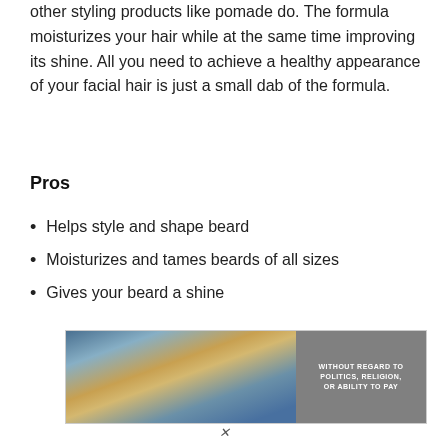other styling products like pomade do. The formula moisturizes your hair while at the same time improving its shine. All you need to achieve a healthy appearance of your facial hair is just a small dab of the formula.
Pros
Helps style and shape beard
Moisturizes and tames beards of all sizes
Gives your beard a shine
[Figure (photo): Advertisement banner showing an airplane being loaded with cargo on the tarmac, with a gray panel on the right reading 'WITHOUT REGARD TO POLITICS, RELIGION, OR ABILITY TO PAY']